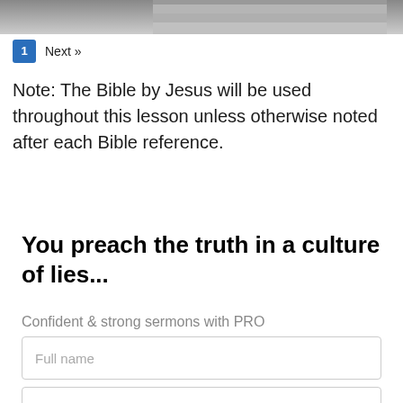[Figure (photo): Partial image at top of page, grayscale, appears to be a person]
1  Next »
Note: The Bible by Jesus will be used throughout this lesson unless otherwise noted after each Bible reference.
You preach the truth in a culture of lies...
Confident & strong sermons with PRO
Full name
Your email address